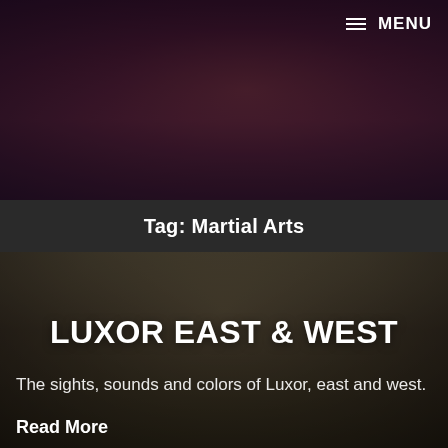[Figure (photo): Hero banner with woman's face in dark reddish-purple tones]
≡ MENU
BREAK FREE
Collected Works of Karen Hunt aka KH Mezek
Tag: Martial Arts
[Figure (photo): Street scene in Luxor with buildings and people on horse carriage]
LUXOR EAST & WEST
The sights, sounds and colors of Luxor, east and west.
Read More